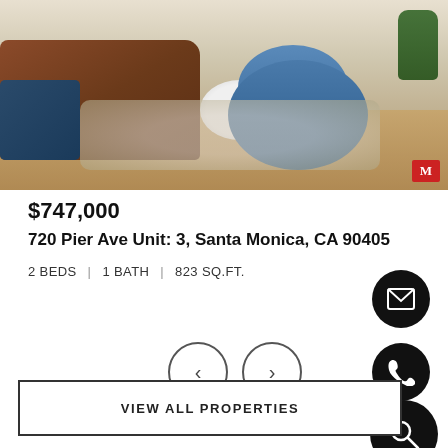[Figure (photo): Interior photo of a living room with brown leather sofa, blue decorative pillows, blue cylindrical ottomans, a round white coffee table, patterned rug, wooden floors, and plants. A dining area is visible in the background.]
$747,000
720 Pier Ave Unit: 3, Santa Monica, CA 90405
2 BEDS | 1 BATH | 823 SQ.FT.
VIEW ALL PROPERTIES